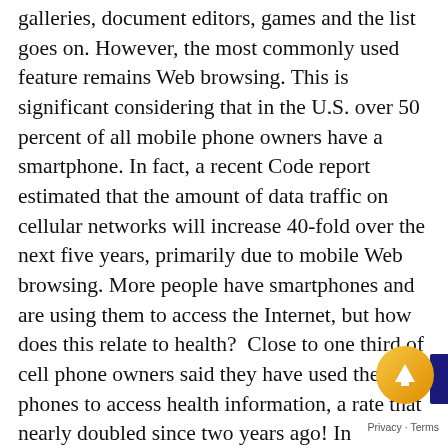galleries, document editors, games and the list goes on. However, the most commonly used feature remains Web browsing. This is significant considering that in the U.S. over 50 percent of all mobile phone owners have a smartphone. In fact, a recent Code report estimated that the amount of data traffic on cellular networks will increase 40-fold over the next five years, primarily due to mobile Web browsing. More people have smartphones and are using them to access the Internet, but how does this relate to health?  Close to one third of cell phone owners said they have used their phones to access health information, a rate that nearly doubled since two years ago! In addition, about one in five said they had a health-related app, most commonly ones concerning weight, diet, or exercise. Given this information how do we ignore the obvious trends in the use of